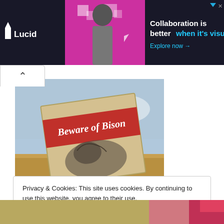[Figure (screenshot): Lucid advertisement banner with dark background. Shows Lucid logo on left, a woman at a desk image in center on pink/magenta background with geometric squares, and ad text 'Collaboration is better when it's visual' with 'Explore now →' call to action on right.]
[Figure (photo): Photograph of a 'Beware of Bison' warning sign with a red banner at the top reading 'Beware of Bison' and an illustration of a bison below, set against a sky and prairie landscape background.]
Privacy & Cookies: This site uses cookies. By continuing to use this website, you agree to their use.
To find out more, including how to control cookies, see here: Cookie Policy
Close and accept